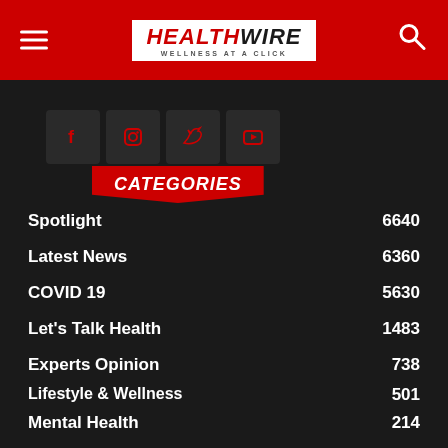HEALTHWIRE — WELLNESS AT A CLICK
CATEGORIES
Spotlight 6640
Latest News 6360
COVID 19 5630
Let's Talk Health 1483
Experts Opinion 738
Lifestyle & Wellness 501
Mental Health 214
Daily Fitness 165
Health Tips 149